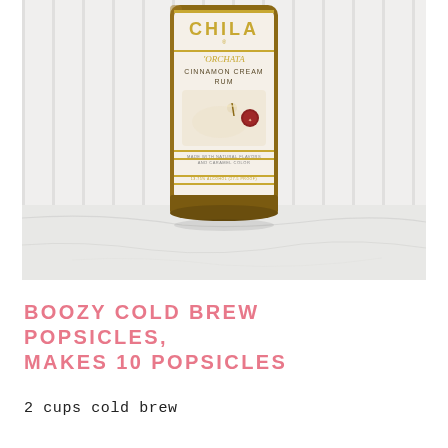[Figure (photo): Close-up photograph of a Chila 'Orchata Cinnamon Cream Rum bottle, showing the label with gold text, a vanilla flower and cinnamon stick illustration, and a red wax seal, bottle base in amber glass resting on a white marble surface against a white paneled background.]
BOOZY COLD BREW POPSICLES, MAKES 10 POPSICLES
2 cups cold brew